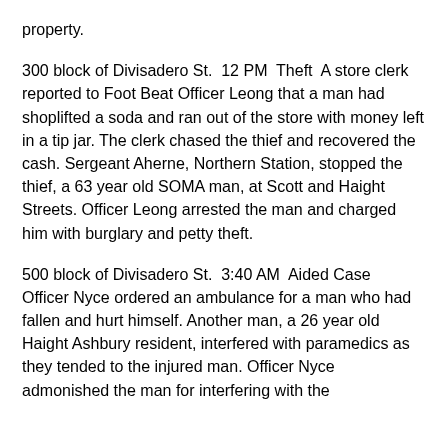property.
300 block of Divisadero St.  12 PM  Theft  A store clerk reported to Foot Beat Officer Leong that a man had shoplifted a soda and ran out of the store with money left in a tip jar. The clerk chased the thief and recovered the cash. Sergeant Aherne, Northern Station, stopped the thief, a 63 year old SOMA man, at Scott and Haight Streets. Officer Leong arrested the man and charged him with burglary and petty theft.
500 block of Divisadero St.  3:40 AM  Aided Case  Officer Nyce ordered an ambulance for a man who had fallen and hurt himself. Another man, a 26 year old Haight Ashbury resident, interfered with paramedics as they tended to the injured man. Officer Nyce admonished the man for interfering with the